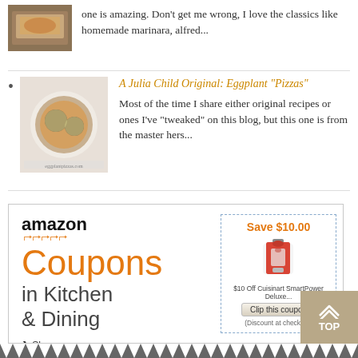one is amazing. Don't get me wrong, I love the classics like homemade marinara, alfred...
A Julia Child Original: Eggplant "Pizzas" — Most of the time I share either original recipes or ones I've "tweaked" on this blog, but this one is from the master hers...
[Figure (other): Amazon ad banner for Kitchen & Dining coupons featuring a red Cuisinart blender with Save $10.00 offer and Clip this coupon button]